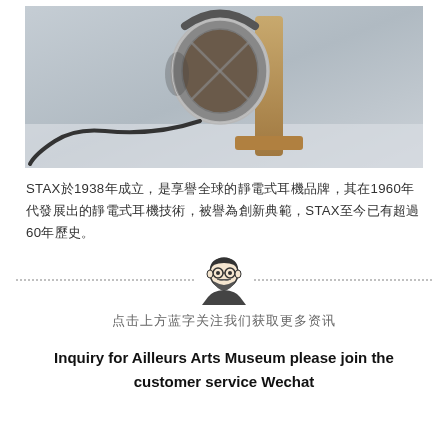[Figure (photo): Photograph of STAX electrostatic headphones on a wooden stand, placed on a white surface, with a cable visible in the foreground.]
STAX於1938年成立，是享譽全球的靜電式耳機品牌，其在1960年代發展出的靜電式耳機技術，被譽為創新典範，STAX至今已有超過60年歷史。
[Figure (illustration): Illustrated avatar of a bearded man with glasses, centered between two dotted divider lines.]
点击上方蓝字关注我们获取更多资讯
Inquiry for Ailleurs Arts Museum please join the customer service Wechat